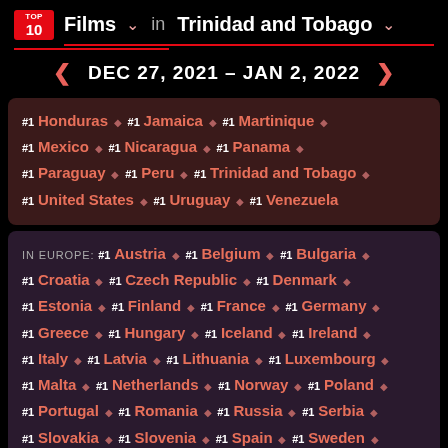TOP 10 Films in Trinidad and Tobago
DEC 27, 2021 - JAN 2, 2022
#1 Honduras #1 Jamaica #1 Martinique #1 Mexico #1 Nicaragua #1 Panama #1 Paraguay #1 Peru #1 Trinidad and Tobago #1 United States #1 Uruguay #1 Venezuela
IN EUROPE: #1 Austria #1 Belgium #1 Bulgaria #1 Croatia #1 Czech Republic #1 Denmark #1 Estonia #1 Finland #1 France #1 Germany #1 Greece #1 Hungary #1 Iceland #1 Ireland #1 Italy #1 Latvia #1 Lithuania #1 Luxembourg #1 Malta #1 Netherlands #1 Norway #1 Poland #1 Portugal #1 Romania #1 Russia #1 Serbia #1 Slovakia #1 Slovenia #1 Spain #1 Sweden #1 Switzerland #1 Ukraine #1 United Kingdom